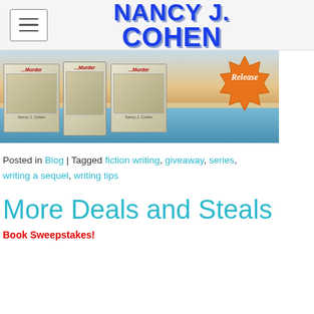Nancy J. Cohen
[Figure (photo): Banner image showing book covers of a murder mystery series with beach/ocean background and an orange 'Release' badge starburst in the upper right. Books titled with 'Murder' visible. Author name Nancy J. Cohen on covers.]
Posted in Blog | Tagged fiction writing, giveaway, series, writing a sequel, writing tips
More Deals and Steals
Book Sweepstakes!